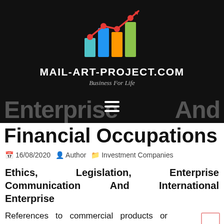[Figure (logo): Mail-Art-Project.com logo with colorful bar chart and line graph icon on black background]
MAIL-ART-PROJECT.COM
Business For Life
Enterprise And Financial Occupations
16/08/2020  Author  Investment Companies
Ethics, Legislation, Enterprise Communication And International Enterprise
References to commercial products or services within this site are conducted this